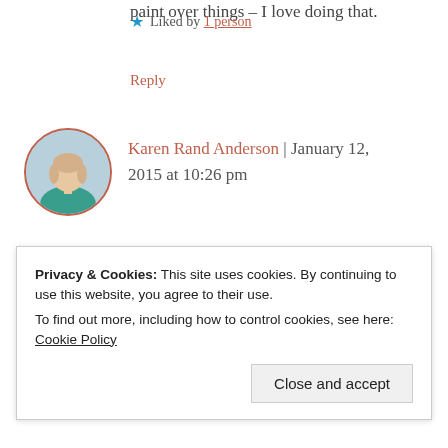paint over things – I love doing that.
★ Liked by 1 person
Reply
[Figure (photo): Circular avatar photo of Karen Rand Anderson, a woman in a teal top]
Karen Rand Anderson | January 12, 2015 at 10:26 pm
Thanks...I'm with you, Linda. Open house/fire sale event sounds like a grand idea for the spring. And how many times
Privacy & Cookies: This site uses cookies. By continuing to use this website, you agree to their use. To find out more, including how to control cookies, see here: Cookie Policy
Close and accept